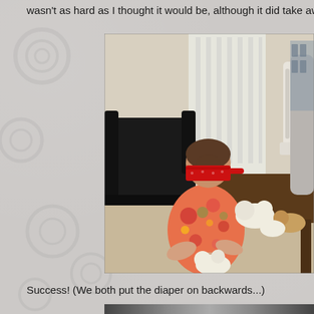wasn't as hard as I thought it would be, although it did take awh
[Figure (photo): A woman wearing a red bandana as a blindfold and a colorful floral top, kneeling and diapering a stuffed animal toy on a table. Another person stands to the right. Several stuffed animal toys are on the table. The setting is a living room with a black leather couch and white vertical blinds in the background.]
Success! (We both put the diaper on backwards...)